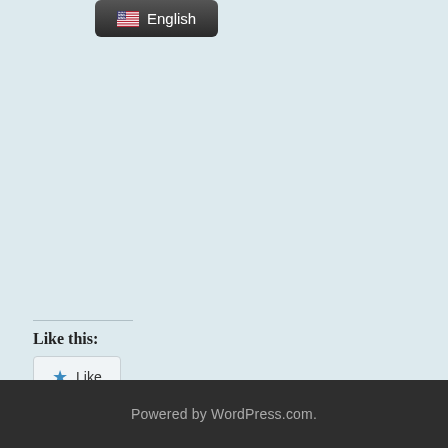[Figure (screenshot): Language selector button showing US flag emoji and 'English' text on dark background]
Like this:
[Figure (screenshot): WordPress Like button with blue star icon and 'Like' label]
Be the first to like this.
Powered by WordPress.com.